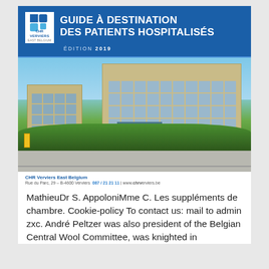[Figure (photo): Cover of 'Guide à destination des patients hospitalisés, Édition 2019' by CHR Verviers East Belgium, featuring the hospital building exterior with blue sky and greenery in the foreground.]
CHR Verviers East Belgium
Rue du Parc, 29 – B-4600 Verviers   087 / 21 21 11 | www.chrverviers.be
MathieuDr S. AppoloniMme C. Les suppléments de chambre. Cookie-policy To contact us: mail to admin zxc. André Peltzer was also president of the Belgian Central Wool Committee, was knighted in